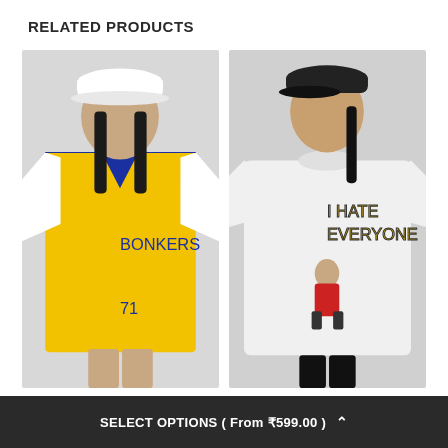RELATED PRODUCTS
[Figure (photo): Young woman wearing a yellow and white football jersey with 'BONKERS 71' in blue letters, paired with a white baseball cap, posed against a grey background]
[Figure (photo): Woman wearing a white oversized t-shirt with 'I HATE EVERYONE' graphic and cartoon character in red outfit, wearing a black baseball cap, posed against a grey background]
SELECT OPTIONS ( From ₹599.00 )